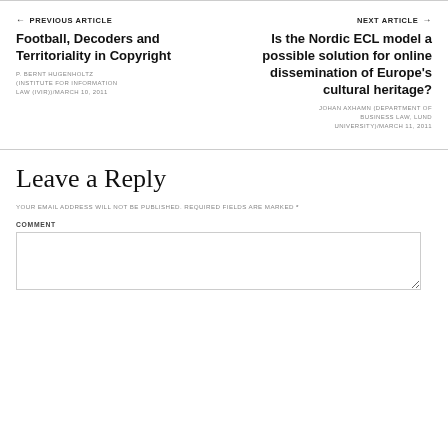← PREVIOUS ARTICLE
Football, Decoders and Territoriality in Copyright
P. BERNT HUGENHOLTZ (INSTITUTE FOR INFORMATION LAW (IVIR))/MARCH 10, 2011
NEXT ARTICLE →
Is the Nordic ECL model a possible solution for online dissemination of Europe's cultural heritage?
JOHAN AXHAMN (DEPARTMENT OF BUSINESS LAW, LUND UNIVERSITY)/MARCH 11, 2011
Leave a Reply
YOUR EMAIL ADDRESS WILL NOT BE PUBLISHED. REQUIRED FIELDS ARE MARKED *
COMMENT